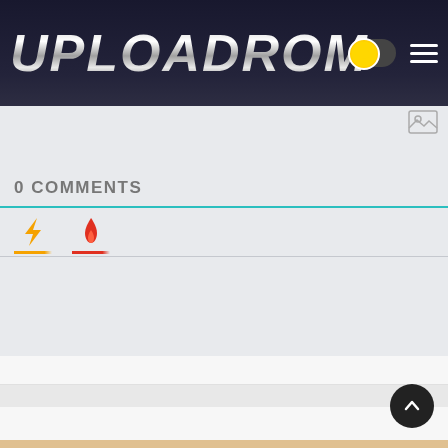UPLOADROM
[Figure (screenshot): Small image/photo placeholder icon in top right of content area]
0 COMMENTS
[Figure (infographic): Tab row with lightning bolt icon (orange underline) and flame icon (red underline) below a teal divider line]
[Figure (infographic): Back to top arrow button (dark circle with upward chevron) in bottom right corner]